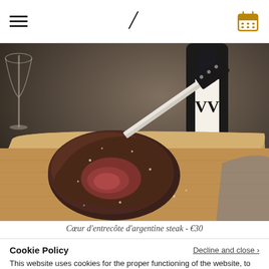H (logo) with hamburger menu and calendar icon
[Figure (photo): A cooked steak (coeur d'entrecôte) on a wooden cutting board with a carving knife. A wine bottle labeled 'VV' and a wine glass are visible in the background. The scene is restaurant-styled with dark atmospheric lighting.]
Cœur d'entrecôte d'argentine steak - €30
Cookie Policy
Decline and close
This website uses cookies for the proper functioning of the website, to collect anonymous data for statistical purposes and to improve your browsing experience.
ACCEPT AND CLOSE
SET COOKIES